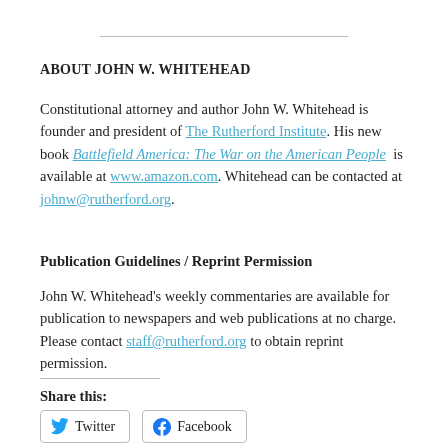ABOUT JOHN W. WHITEHEAD
Constitutional attorney and author John W. Whitehead is founder and president of The Rutherford Institute. His new book Battlefield America: The War on the American People is available at www.amazon.com. Whitehead can be contacted at johnw@rutherford.org.
Publication Guidelines / Reprint Permission
John W. Whitehead's weekly commentaries are available for publication to newspapers and web publications at no charge. Please contact staff@rutherford.org to obtain reprint permission.
Share this:
Twitter  Facebook